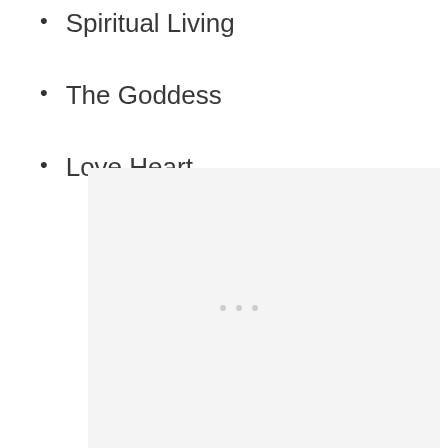Spiritual Living
The Goddess
Love Heart